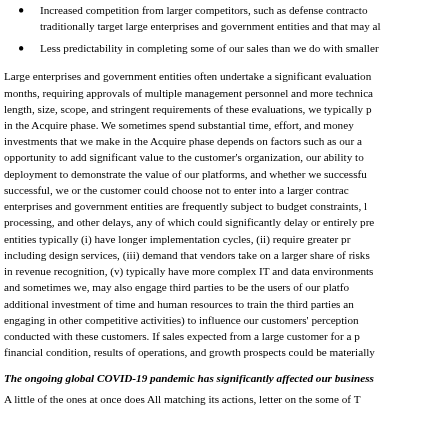Increased competition from larger competitors, such as defense contractors, that traditionally target large enterprises and government entities and that may al…
Less predictability in completing some of our sales than we do with smaller…
Large enterprises and government entities often undertake a significant evaluation months, requiring approvals of multiple management personnel and more technical… length, size, scope, and stringent requirements of these evaluations, we typically p… in the Acquire phase. We sometimes spend substantial time, effort, and money… investments that we make in the Acquire phase depends on factors such as our a… opportunity to add significant value to the customer's organization, our ability to… deployment to demonstrate the value of our platforms, and whether we successfu… successful, we or the customer could choose not to enter into a larger contrac… enterprises and government entities are frequently subject to budget constraints, l… processing, and other delays, any of which could significantly delay or entirely pre… entities typically (i) have longer implementation cycles, (ii) require greater pr… including design services, (iii) demand that vendors take on a larger share of risks… in revenue recognition, (v) typically have more complex IT and data environments… and sometimes we, may also engage third parties to be the users of our platfo… additional investment of time and human resources to train the third parties an… engaging in other competitive activities) to influence our customers' perception… conducted with these customers. If sales expected from a large customer for a p… financial condition, results of operations, and growth prospects could be materially…
The ongoing global COVID-19 pandemic has significantly affected our business…
A little of the ones at once does All matching its actions, letter on the some of T…